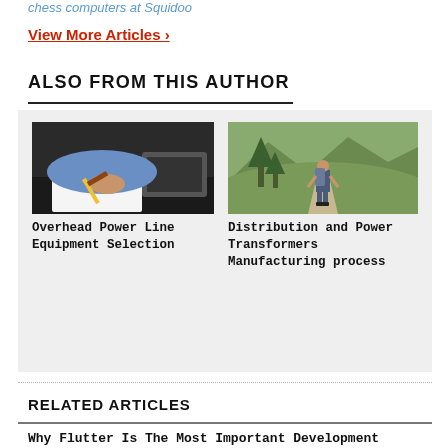chess computers at Squidoo
View More Articles >
ALSO FROM THIS AUTHOR
[Figure (photo): Person writing with pencil at desk with laptop — thumbnail for Overhead Power Line Equipment Selection article]
Overhead Power Line Equipment Selection
[Figure (photo): Hiker with backpack walking on mountain trail — thumbnail for Distribution and Power Transformers Manufacturing process article]
Distribution and Power Transformers Manufacturing process
RELATED ARTICLES
Why Flutter Is The Most Important Development Framework For Mobile Apps